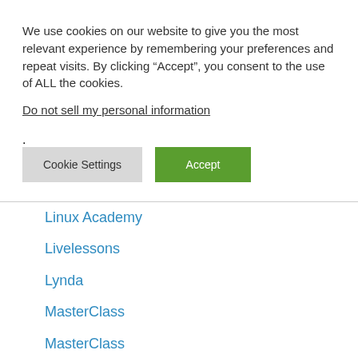We use cookies on our website to give you the most relevant experience by remembering your preferences and repeat visits. By clicking “Accept”, you consent to the use of ALL the cookies.
Do not sell my personal information.
Cookie Settings
Accept
Linux Academy
Livelessons
Lynda
MasterClass
MasterClass
Mindvalley
MVA
News